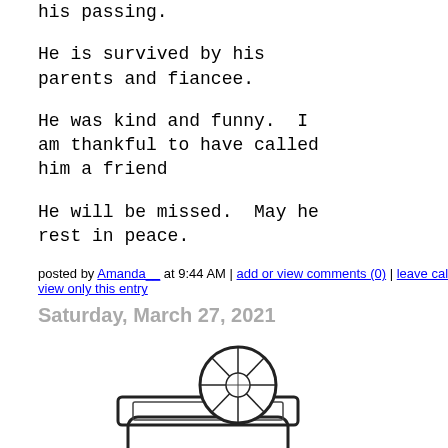his passing.
He is survived by his parents and fiancee.
He was kind and funny.  I am thankful to have called him a friend
He will be missed.  May he rest in peace.
posted by Amanda__ at 9:44 AM | add or view comments (0) | leave calling card | link to this | view only this entry
Saturday, March 27, 2021
[Figure (illustration): Black and white illustration of a mason jar with a lemon slice on top, text reading 'raised on sweet']
(No subject)
(No subject)
Jokes, Jokes and Jokes
Hi Everyone
Hey All